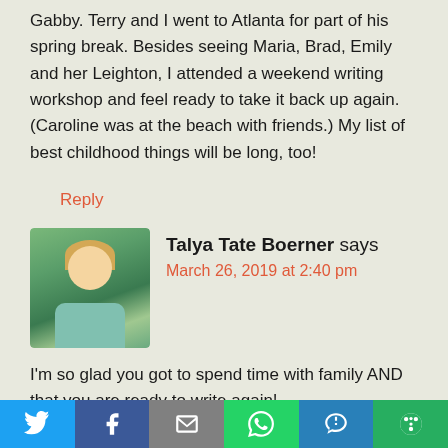Gabby. Terry and I went to Atlanta for part of his spring break. Besides seeing Maria, Brad, Emily and her Leighton, I attended a weekend writing workshop and feel ready to take it back up again. (Caroline was at the beach with friends.) My list of best childhood things will be long, too!
Reply
[Figure (photo): Avatar photo of Talya Tate Boerner, a woman with blonde hair wearing a light blue top, outdoors with green foliage in background]
Talya Tate Boerner says
March 26, 2019 at 2:40 pm
I'm so glad you got to spend time with family AND that you are ready to write again!
[Figure (infographic): Social sharing bar with Twitter, Facebook, Email, WhatsApp, SMS, and More buttons]